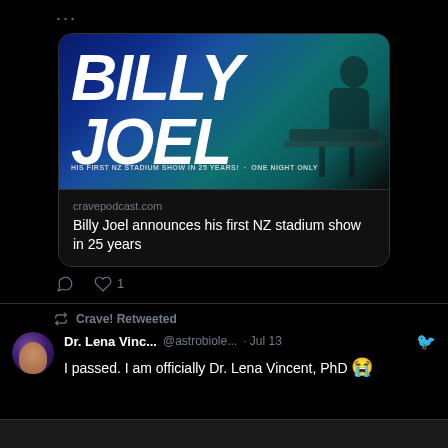...
[Figure (screenshot): Billy Joel concert promotion card showing 'BILLY JOEL' in large white bold italic text on a dark blue/teal background with text 'HIS FIRST NZ STADIUM SHOW IN 25 YEARS! · ONE NIGHT ONLY']
cravepodcast.com
Billy Joel announces his first NZ stadium show in 25 years
♡ 1
Crave! Retweeted
Dr. Lena Vinc... @astrobiole... · Jul 13
I passed. I am officially Dr. Lena Vincent, PhD 😭